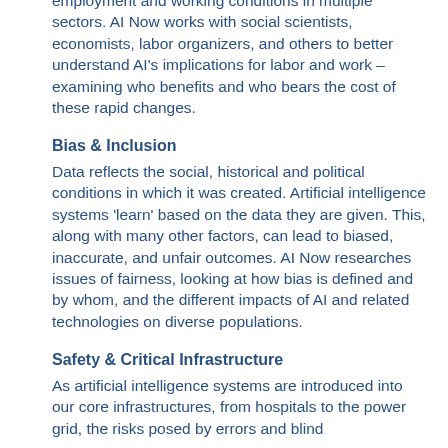employment and working conditions in multiple sectors. AI Now works with social scientists, economists, labor organizers, and others to better understand AI's implications for labor and work – examining who benefits and who bears the cost of these rapid changes.
Bias & Inclusion
Data reflects the social, historical and political conditions in which it was created. Artificial intelligence systems 'learn' based on the data they are given. This, along with many other factors, can lead to biased, inaccurate, and unfair outcomes. AI Now researches issues of fairness, looking at how bias is defined and by whom, and the different impacts of AI and related technologies on diverse populations.
Safety & Critical Infrastructure
As artificial intelligence systems are introduced into our core infrastructures, from hospitals to the power grid, the risks posed by errors and blind